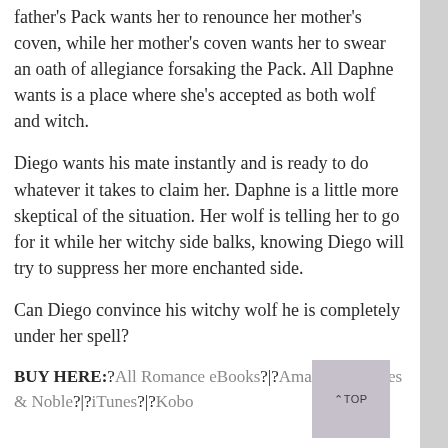father's Pack wants her to renounce her mother's coven, while her mother's coven wants her to swear an oath of allegiance forsaking the Pack. All Daphne wants is a place where she's accepted as both wolf and witch.
Diego wants his mate instantly and is ready to do whatever it takes to claim her. Daphne is a little more skeptical of the situation. Her wolf is telling her to go for it while her witchy side balks, knowing Diego will try to suppress her more enchanted side.
Can Diego convince his witchy wolf he is completely under her spell?
BUY HERE:?All Romance eBooks?|?Amazon?|?Barnes & Noble?|?iTunes?|?Kobo